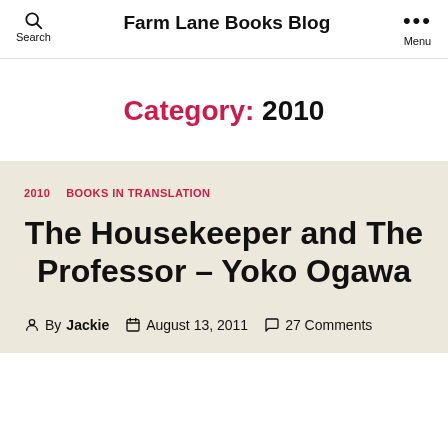Farm Lane Books Blog
Category: 2010
2010   BOOKS IN TRANSLATION
The Housekeeper and The Professor – Yoko Ogawa
By Jackie   August 13, 2011   27 Comments